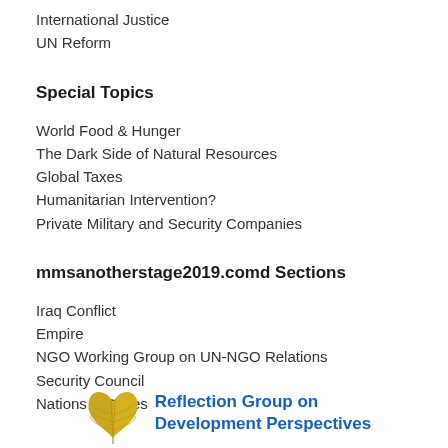International Justice
UN Reform
Special Topics
World Food & Hunger
The Dark Side of Natural Resources
Global Taxes
Humanitarian Intervention?
Private Military and Security Companies
mmsanotherstage2019.comd Sections
Iraq Conflict
Empire
NGO Working Group on UN-NGO Relations
Security Council
Nations & States
[Figure (logo): Ginkgo leaf logo with text 'Reflection Group on Development Perspectives' in blue]